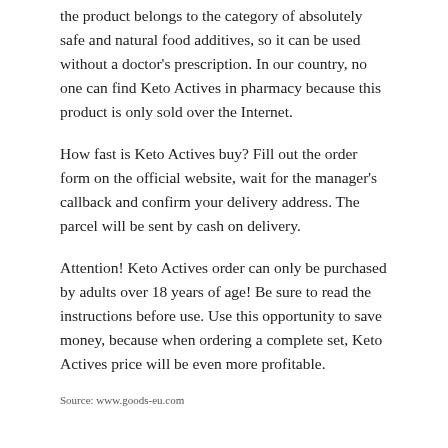the product belongs to the category of absolutely safe and natural food additives, so it can be used without a doctor's prescription. In our country, no one can find Keto Actives in pharmacy because this product is only sold over the Internet.
How fast is Keto Actives buy? Fill out the order form on the official website, wait for the manager's callback and confirm your delivery address. The parcel will be sent by cash on delivery.
Attention! Keto Actives order can only be purchased by adults over 18 years of age! Be sure to read the instructions before use. Use this opportunity to save money, because when ordering a complete set, Keto Actives price will be even more profitable.
Source: www.goods-eu.com